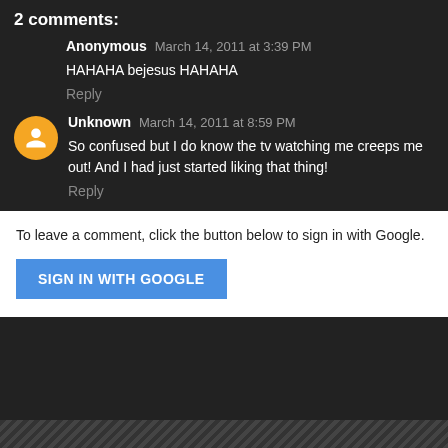2 comments:
Anonymous March 14, 2011 at 3:39 PM
HAHAHA bejesus HAHAHA
Reply
Unknown March 14, 2011 at 8:59 PM
So confused but I do know the tv watching me creeps me out! And I had just started liking that thing!
Reply
To leave a comment, click the button below to sign in with Google.
SIGN IN WITH GOOGLE